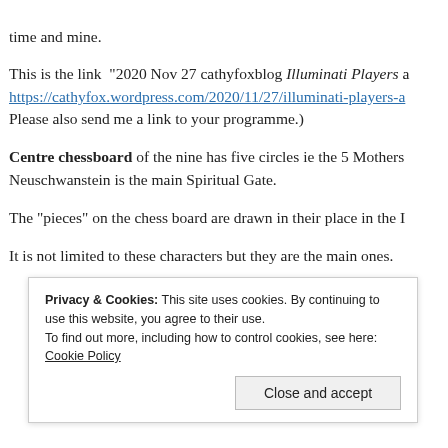time and mine.
This is the link “2020 Nov 27 cathyfoxblog Illuminati Players https://cathyfox.wordpress.com/2020/11/27/illuminati-players-a Please also send me a link to your programme.)
Centre chessboard of the nine has five circles ie the 5 Mothers. Neuschwanstein is the main Spiritual Gate.
The “pieces” on the chess board are drawn in their place in the I
It is not limited to these characters but they are the main ones.
Privacy & Cookies: This site uses cookies. By continuing to use this website, you agree to their use. To find out more, including how to control cookies, see here: Cookie Policy
Close and accept